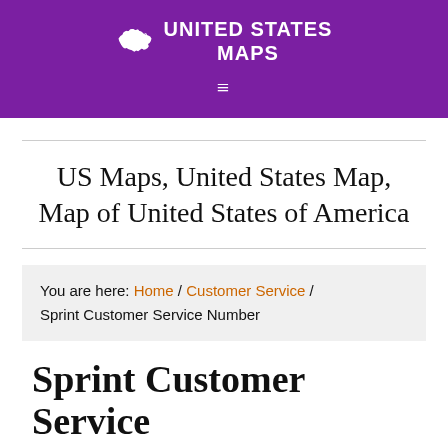UNITED STATES MAPS
US Maps, United States Map, Map of United States of America
You are here: Home / Customer Service / Sprint Customer Service Number
Sprint Customer Service